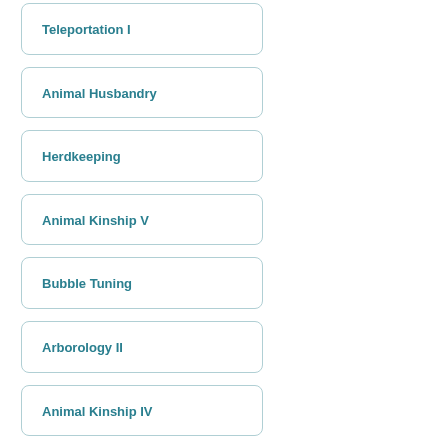Teleportation I
Animal Husbandry
Herdkeeping
Animal Kinship V
Bubble Tuning
Arborology II
Animal Kinship IV
Animal Kinship III